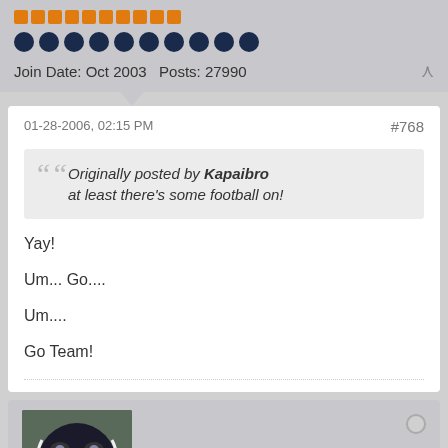[Figure (infographic): Orange reputation bars (10 bars) and blue dot indicators (10 dots) showing user reputation/rank]
Join Date: Oct 2003   Posts: 27990
01-28-2006, 02:15 PM
#768
Originally posted by Kapaibro
at least there's some football on!
Yay!

Um... Go....

Um....

Go Team!
[Figure (photo): Avatar image of a black and white animal (appears to be a poison dart frog or salamander) on rocks]
Kapaibro